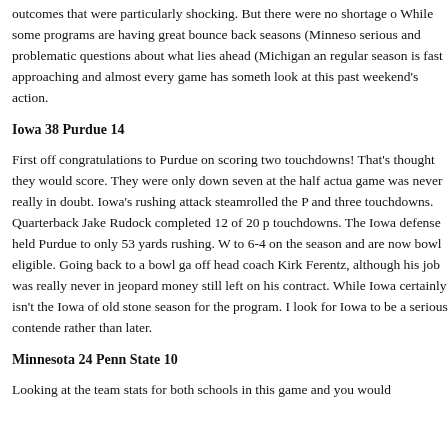outcomes that were particularly shocking. But there were no shortage of While some programs are having great bounce back seasons (Minnesota serious and problematic questions about what lies ahead (Michigan and regular season is fast approaching and almost every game has something look at this past weekend's action.
Iowa 38 Purdue 14
First off congratulations to Purdue on scoring two touchdowns! That's thought they would score. They were only down seven at the half actually game was never really in doubt. Iowa's rushing attack steamrolled the P and three touchdowns. Quarterback Jake Rudock completed 12 of 20 passes touchdowns. The Iowa defense held Purdue to only 53 yards rushing. W to 6-4 on the season and are now bowl eligible. Going back to a bowl game off head coach Kirk Ferentz, although his job was really never in jeopardy money still left on his contract. While Iowa certainly isn't the Iowa of old stone season for the program. I look for Iowa to be a serious contender rather than later.
Minnesota 24 Penn State 10
Looking at the team stats for both schools in this game and you would